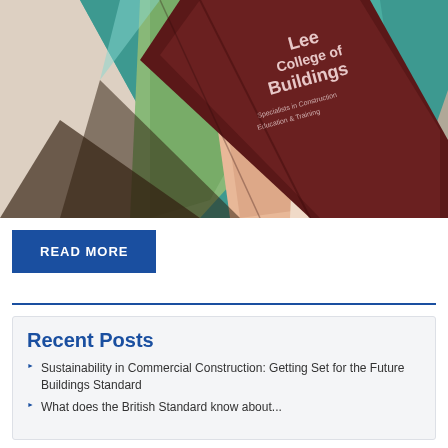[Figure (photo): Photo of colorful geometric folded brochures/booklets fanned out on a dark surface. One booklet is dark brown/maroon with white text reading 'Leeds College of Building' and 'Specialists in Construction Education & Training'. The other booklets show geometric triangle patterns in teal, peach, green, and beige colors.]
READ MORE
Recent Posts
Sustainability in Commercial Construction: Getting Set for the Future Buildings Standard
What does the British Standard know about...